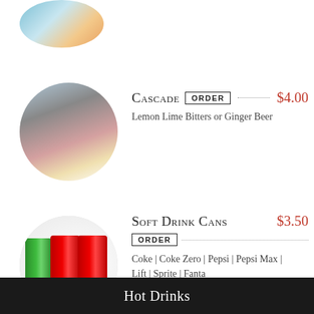[Figure (photo): Partial circular image of bottled drinks at top of page]
[Figure (photo): Circular image of Cascade brand glass bottles with flavored drinks]
CASCADE ORDER $4.00
Lemon Lime Bitters or Ginger Beer
[Figure (photo): Circular image of Sprite, Coca-Cola soft drink cans on white surface]
SOFT DRINK CANS $3.50
ORDER
Coke | Coke Zero | Pepsi | Pepsi Max | Lift | Sprite | Fanta
Hot Drinks